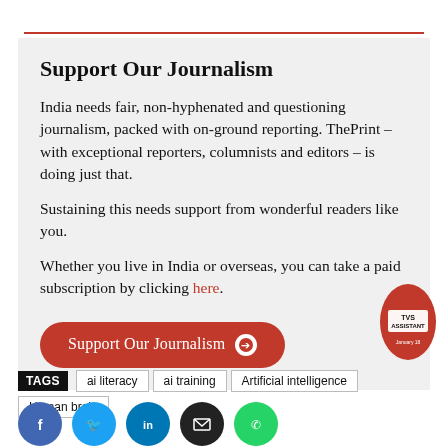Support Our Journalism
India needs fair, non-hyphenated and questioning journalism, packed with on-ground reporting. ThePrint – with exceptional reporters, columnists and editors – is doing just that.
Sustaining this needs support from wonderful readers like you.
Whether you live in India or overseas, you can take a paid subscription by clicking here.
Support Our Journalism →
[Figure (logo): ThePrint news assistant oval logo badge in red/orange]
TAGS  ai literacy  ai training  Artificial intelligence  Human brain
[Figure (infographic): Social media share icons: Facebook, Twitter, LinkedIn, Email, WhatsApp]